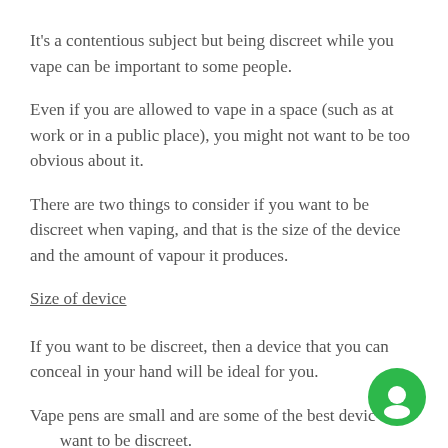It's a contentious subject but being discreet while you vape can be important to some people.
Even if you are allowed to vape in a space (such as at work or in a public place), you might not want to be too obvious about it.
There are two things to consider if you want to be discreet when vaping, and that is the size of the device and the amount of vapour it produces.
Size of device
If you want to be discreet, then a device that you can conceal in your hand will be ideal for you.
Vape pens are small and are some of the best devices if you want to be discreet.
[Figure (illustration): Green circular chat bubble icon in the bottom right corner]